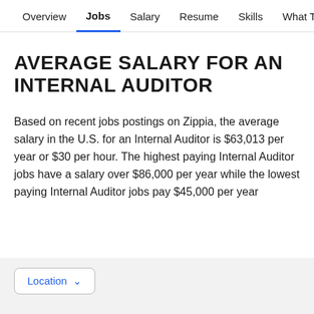Overview  Jobs  Salary  Resume  Skills  What They >
AVERAGE SALARY FOR AN INTERNAL AUDITOR
Based on recent jobs postings on Zippia, the average salary in the U.S. for an Internal Auditor is $63,013 per year or $30 per hour. The highest paying Internal Auditor jobs have a salary over $86,000 per year while the lowest paying Internal Auditor jobs pay $45,000 per year
Location